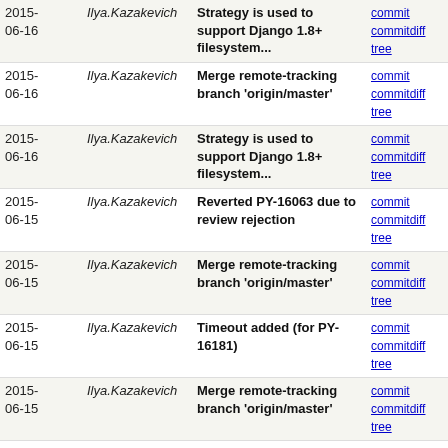| Date | Author | Message | Links |
| --- | --- | --- | --- |
| 2015-06-16 | Ilya.Kazakevich | Strategy is used to support Django 1.8+ filesystem... | commit | commitdiff | tree |
| 2015-06-16 | Ilya.Kazakevich | Merge remote-tracking branch 'origin/master' | commit | commitdiff | tree |
| 2015-06-16 | Ilya.Kazakevich | Strategy is used to support Django 1.8+ filesystem... | commit | commitdiff | tree |
| 2015-06-15 | Ilya.Kazakevich | Reverted PY-16063 due to review rejection | commit | commitdiff | tree |
| 2015-06-15 | Ilya.Kazakevich | Merge remote-tracking branch 'origin/master' | commit | commitdiff | tree |
| 2015-06-15 | Ilya.Kazakevich | Timeout added (for PY-16181) | commit | commitdiff | tree |
| 2015-06-15 | Ilya.Kazakevich | Merge remote-tracking branch 'origin/master' | commit | commitdiff | tree |
| 2015-06-15 | Ilya.Kazakevich | Nosetest runner recognized even if its subclass used... | commit | commitdiff | tree |
| 2015-06-11 | Ilya.Kazakevich | Merge remote-tracking branch 'origin/master' | commit | commitdiff | tree |
| 2015-06-11 | Ilya.Kazakevich | Manager methods are now overwritable (see PY-16063) | commit | commitdiff | tree |
| 2015-06-10 | Ilya.Kazakevich | Merge remote-tracking branch 'origin/master' | commit | commitdiff | tree |
| 2015-06-10 | Ilya.Kazakevich | PYTHONIOENCODING is now always passed to any python... | commit | commitdiff | tree |
| 2015-06-10 | Ilya.Kazakevich | Merge remote-tracking branch 'origin/master' | commit | commitdiff | tree |
| 2015- | Ilya.Kazakevich | Merge branch 'master' into IDEA-... | commit |